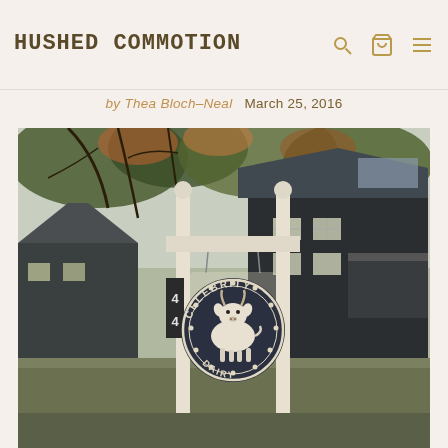HUSHED COMMOTION
MY WEDDING SATURDAY
by Thea Bloch–Neal  March 25, 2016
[Figure (photo): Outdoor photo of Celebrity Dairy sign hanging from a white wooden post with a circular logo featuring a goat, in front of a dark farmhouse with trees overhead. Address number 44 visible on post.]